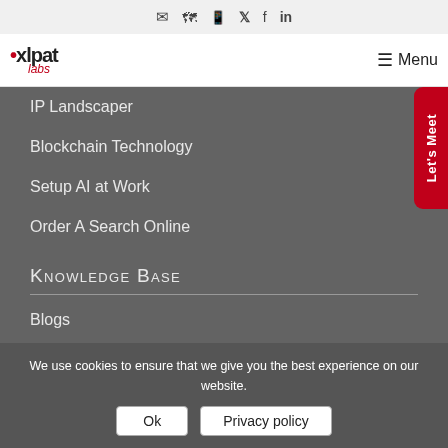✉ 🗺 📱 🐦 f in (icon bar)
[Figure (logo): xlpat labs logo with red dot and italic labs text]
Menu
IP Landscaper
Blockchain Technology
Setup AI at Work
Order A Search Online
Knowledge Base
Blogs
Case Studies
Let's Meet
We use cookies to ensure that we give you the best experience on our website.
Ok
Privacy policy